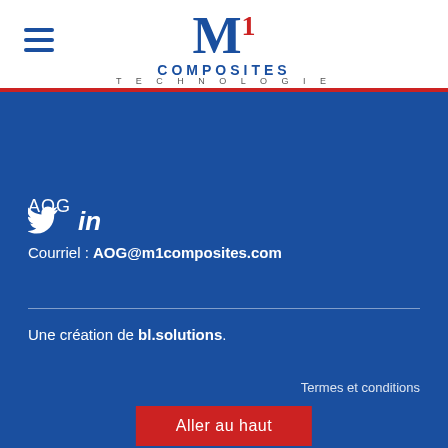[Figure (logo): M1 Composites Technologie logo with large blue M, red superscript 1, COMPOSITES in bold blue caps, TECHNOLOGIE in small grey caps]
[Figure (infographic): Hamburger menu icon (three horizontal lines) in top-left of header]
[Figure (infographic): Twitter bird icon and LinkedIn 'in' icon in white on blue background]
AOG
Courriel : AOG@m1composites.com
Une création de bl.solutions.
Termes et conditions
Aller au haut